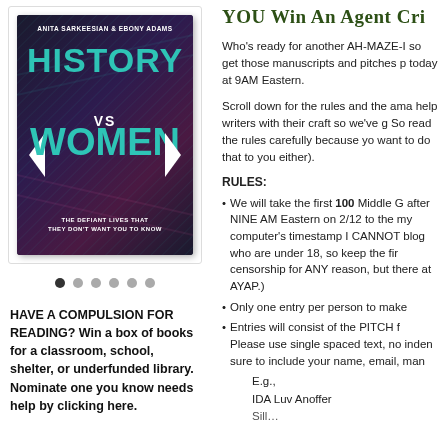[Figure (illustration): Book cover for 'History vs Women: The Defiant Lives That They Don't Want You to Know' by Anita Sarkeesian & Ebony Adams. Teal and white text on dark patterned background.]
HAVE A COMPULSION FOR READING? Win a box of books for a classroom, school, shelter, or underfunded library. Nominate one you know needs help by clicking here.
YOU Win an Agent Cri
Who's ready for another AH-MAZE-I so get those manuscripts and pitches p today at 9AM Eastern.
Scroll down for the rules and the ama help writers with their craft so we've g So read the rules carefully because yo want to do that to you either).
RULES:
We will take the first 100 Middle G after NINE AM Eastern on 2/12 to the my computer's timestamp I CANNOT blog who are under 18, so keep the fir censorship for ANY reason, but there at AYAP.)
Only one entry per person to make
Entries will consist of the PITCH f Please use single spaced text, no inden sure to include your name, email, man E.g., IDA Luv Anoffer